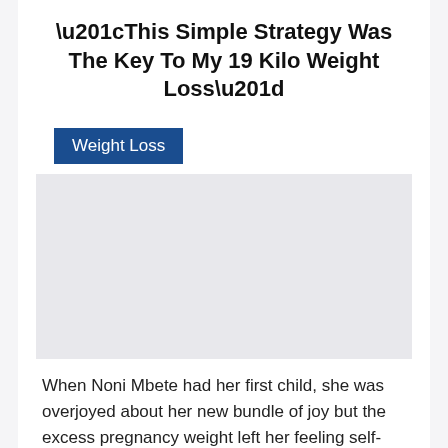“This Simple Strategy Was The Key To My 19 Kilo Weight Loss”
Weight Loss
[Figure (photo): Image placeholder area (light gray background)]
When Noni Mbete had her first child, she was overjoyed about her new bundle of joy but the excess pregnancy weight left her feeling self-conscious and sad. Tired of feeling physically and mentally exhausted, she embarked on a journey